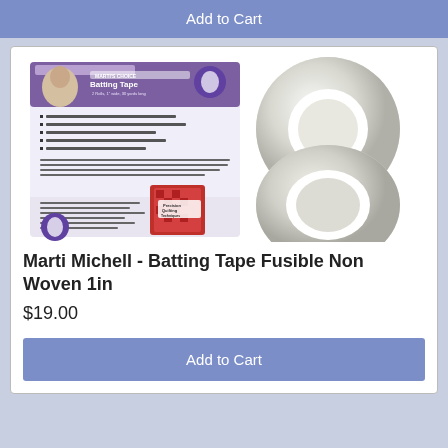Add to Cart
[Figure (photo): Product photo of Marti Michell Batting Tape Fusible Non Woven 1in showing two rolls of white tape and product packaging with Marti's Choice Batting Tape label and a book titled Precision Quilting Techniques]
Marti Michell - Batting Tape Fusible Non Woven 1in
$19.00
Add to Cart